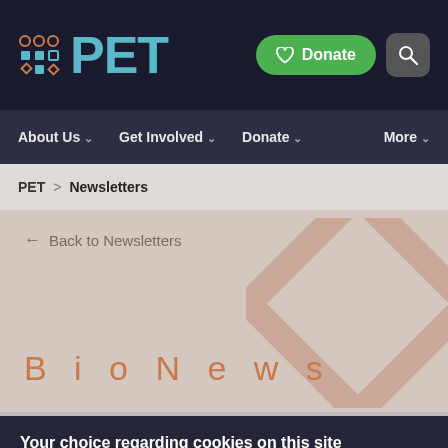PET — Donate | Search
About Us | Get Involved | Donate | More
PET > Newsletters
← Back to Newsletters
BioNews
Your choice regarding cookies on this site
We use cookies to optimise site functionality and give you the best possible experience.